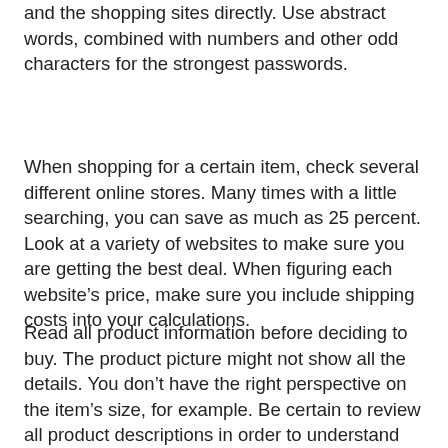and the shopping sites directly. Use abstract words, combined with numbers and other odd characters for the strongest passwords.
When shopping for a certain item, check several different online stores. Many times with a little searching, you can save as much as 25 percent. Look at a variety of websites to make sure you are getting the best deal. When figuring each website's price, make sure you include shipping costs into your calculations.
Read all product information before deciding to buy. The product picture might not show all the details. You don't have the right perspective on the item's size, for example. Be certain to review all product descriptions in order to understand what you might actually receive.
Get engaged in the social media of your favorite online stores. Brands with big online presences typically put